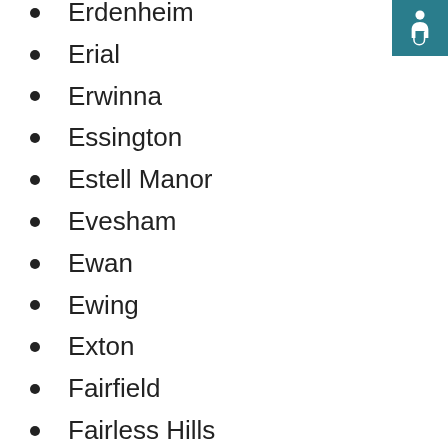Erdenheim
Erial
Erwinna
Essington
Estell Manor
Evesham
Ewan
Ewing
Exton
Fairfield
Fairless Hills
Fairton
Fallsington
Farmington
Feasterville